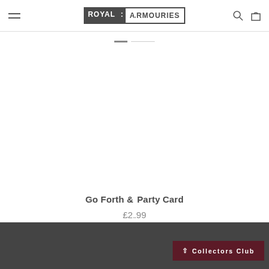Royal Armouries
[Figure (other): Slider pagination indicator with one active dark dash and one lighter dash]
[Figure (photo): Product image area (blank/white) for Go Forth & Party Card]
Go Forth & Party Card
£2.99
Collectors Club